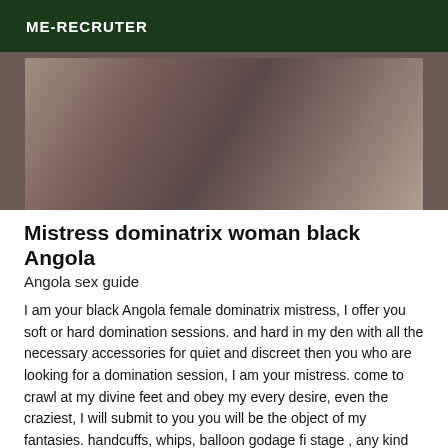ME-RECRUTER
[Figure (photo): A dark brownish-grey textured surface, partially obscured, appearing to be a cropped close-up image.]
Mistress dominatrix woman black Angola
Angola sex guide
I am your black Angola female dominatrix mistress, I offer you soft or hard domination sessions. and hard in my den with all the necessary accessories for quiet and discreet then you who are looking for a domination session, I am your mistress. come to crawl at my divine feet and obey my every desire, even the craziest, I will submit to you you will be the object of my fantasies. handcuffs, whips, balloon godage fi stage , any kind then contact me quickly,